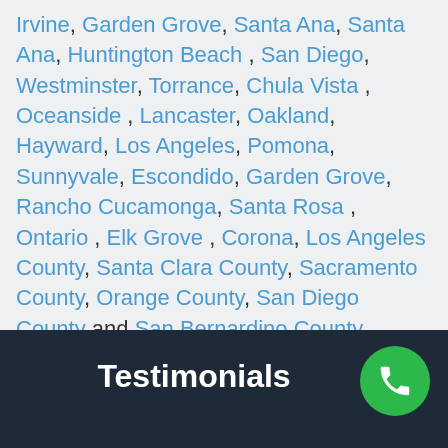Irvine, Garden Grove, Santa Ana, Santa Ana, Huntington Beach , San Diego, Westminster, Torrance, Chula Vista , Oceanside , Lancaster, Oakland, Hayward, Los Angeles, Pomona, Sunnyvale, Escondido, Garden Grove, Rancho Cucamonga, Santa Rosa , Ontario , Elk Grove , Corona, Los Angeles County, Santa Clara County, Sacramento County, Orange County, San Diego County and San Bernardino County.
Testimonials